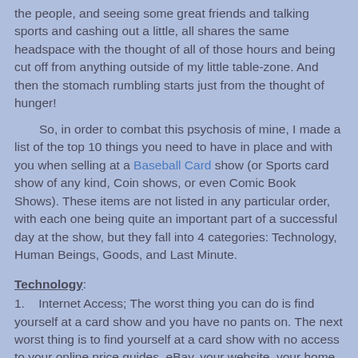the people, and seeing some great friends and talking sports and cashing out a little, all shares the same headspace with the thought of all of those hours and being cut off from anything outside of my little table-zone. And then the stomach rumbling starts just from the thought of hunger!
So, in order to combat this psychosis of mine, I made a list of the top 10 things you need to have in place and with you when selling at a Baseball Card show (or Sports card show of any kind, Coin shows, or even Comic Book Shows). These items are not listed in any particular order, with each one being quite an important part of a successful day at the show, but they fall into 4 categories: Technology, Human Beings, Goods, and Last Minute.
Technology:
1.    Internet Access; The worst thing you can do is find yourself at a card show and you have no pants on. The next worst thing is to find yourself at a card show with no access to your online price guides, eBay, your website, your home network, etc. Bad move. Make sure and verify that the venue has Internet access or WiFi. If not, I'll present an idea shortly